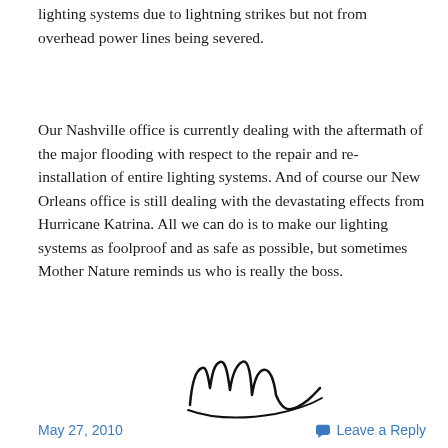lighting systems due to lightning strikes but not from overhead power lines being severed.
Our Nashville office is currently dealing with the aftermath of the major flooding with respect to the repair and re-installation of entire lighting systems. And of course our New Orleans office is still dealing with the devastating effects from Hurricane Katrina. All we can do is to make our lighting systems as foolproof and as safe as possible, but sometimes Mother Nature reminds us who is really the boss.
[Figure (illustration): Handwritten signature, appears to read 'Mead']
May 27, 2010    Leave a Reply